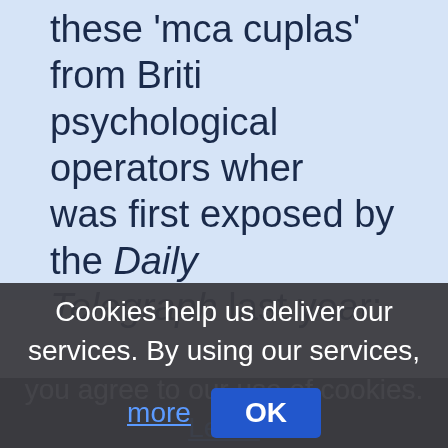these 'mca cuplas' from Briti… psychological operators when was first exposed by the Daily Telegraph last year:
Cookies help us deliver our services. By using our services, you agree to our use of cookies. Learn more